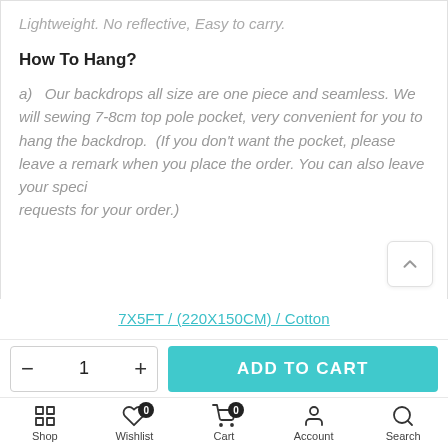Lightweight. No reflective, Easy to carry.
How To Hang?
a)   Our backdrops all size are one piece and seamless. We will sewing 7-8cm top pole pocket, very convenient for you to hang the backdrop.  (If you don't want the pocket, please leave a remark when you place the order. You can also leave your special requests for your order.)
7X5FT / (220X150CM) / Cotton
Shop  Wishlist  Cart  Account  Search